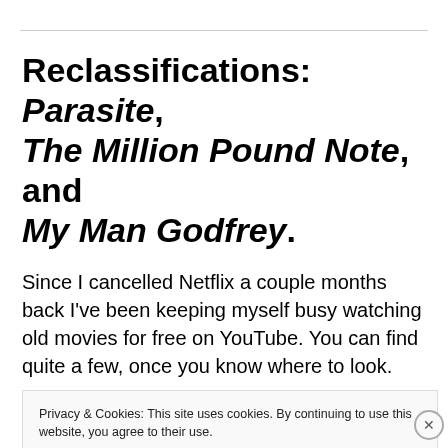Reclassifications: Parasite, The Million Pound Note, and My Man Godfrey.
Since I cancelled Netflix a couple months back I've been keeping myself busy watching old movies for free on YouTube. You can find quite a few, once you know where to look.
Privacy & Cookies: This site uses cookies. By continuing to use this website, you agree to their use.
To find out more, including how to control cookies, see here: Cookie Policy
Close and accept